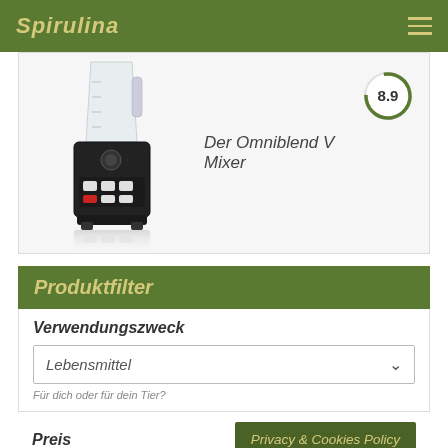Spirulina
[Figure (photo): Photo of an Omniblend V blender with black base and clear pitcher, shown with reflection below]
Der Omniblend V Mixer
[Figure (other): Circular score badge showing 8.9]
Produktfilter
Verwendungszweck
Lebensmittel
Für dich oder für dein Tier?
Preis
Privacy & Cookies Policy